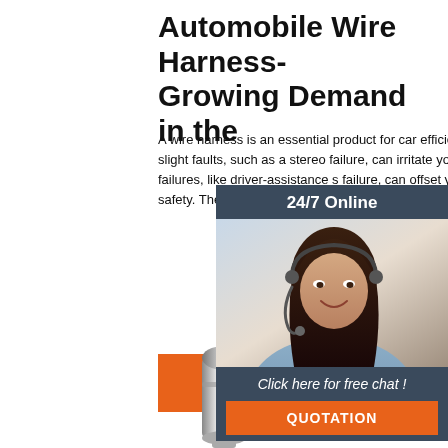Automobile Wire Harness- Growing Demand in the
A wire harness is an essential product for car efficiency and safety. Even slight faults, such as a stereo failure, can irritate you. Moreover, significant failures, like driver-assistance s failure, can offset your vehicle's efficiency safety. Therefore, you need the quality ass of such products.
[Figure (infographic): Chat widget with '24/7 Online' header, photo of woman with headset, 'Click here for free chat!' text, and orange QUOTATION button]
Get Price
[Figure (photo): Photo of a silver metallic cylindrical wire harness connector component at the bottom of the page]